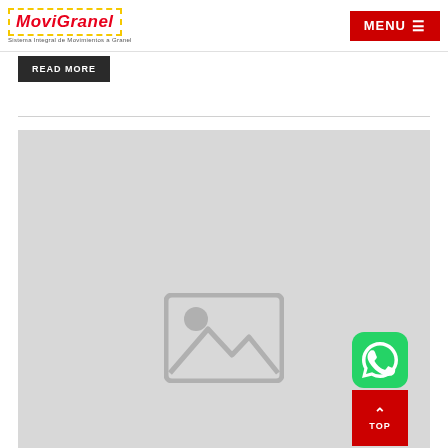[Figure (logo): Movi Granel logo with yellow dashed border and red italic text. Subtitle: Sistema Integral de Movimientos a Granel]
[Figure (screenshot): Red MENU button with hamburger icon in top right corner]
READ MORE
[Figure (photo): Large placeholder image area with grey background and image placeholder icon showing mountain and circle, WhatsApp green icon and red TOP button in bottom right corner]